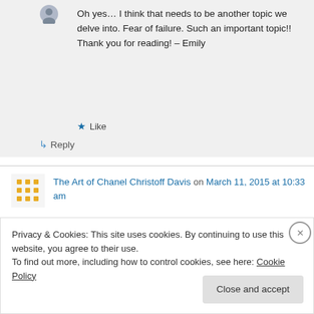Oh yes… I think that needs to be another topic we delve into. Fear of failure. Such an important topic!! Thank you for reading! – Emily
Like
Reply
The Art of Chanel Christoff Davis on March 11, 2015 at 10:33 am
Privacy & Cookies: This site uses cookies. By continuing to use this website, you agree to their use.
To find out more, including how to control cookies, see here: Cookie Policy
Close and accept